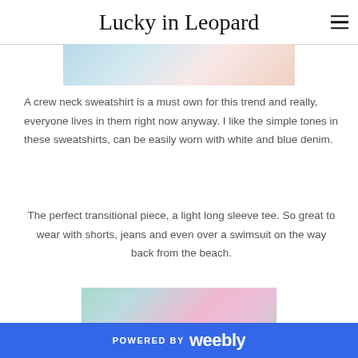Lucky in Leopard
[Figure (photo): Partial photo of a tie-dye garment, cropped at top]
A crew neck sweatshirt is a must own for this trend and really, everyone lives in them right now anyway. I like the simple tones in these sweatshirts, can be easily worn with white and blue denim.
The perfect transitional piece, a light long sleeve tee. So great to wear with shorts, jeans and even over a swimsuit on the way back from the beach.
[Figure (photo): Close-up photo of a woman wearing a pastel tie-dye long sleeve top with pink, blue, and green colors]
POWERED BY weebly